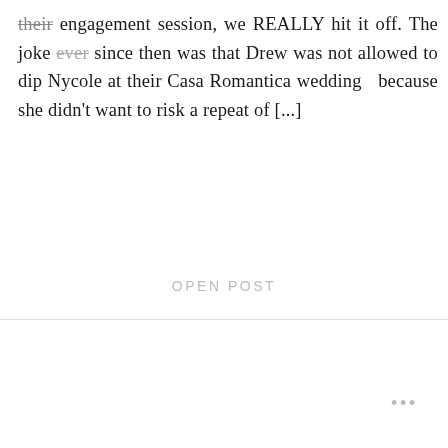their engagement session, we REALLY hit it off. The joke ever since then was that Drew was not allowed to dip Nycole at their Casa Romantica wedding because she didn't want to risk a repeat of [...]
OPEN POST
...